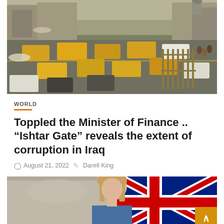[Figure (photo): Aerial view of a busy street with yellow taxis and heavy traffic in what appears to be Baghdad, Iraq]
WORLD
Toppled the Minister of Finance .. “Ishtar Gate” reveals the extent of corruption in Iraq
August 21, 2022   Darell King
[Figure (photo): Woman with blonde hair standing in front of a Union Jack flag, appears to be a government or diplomatic setting]